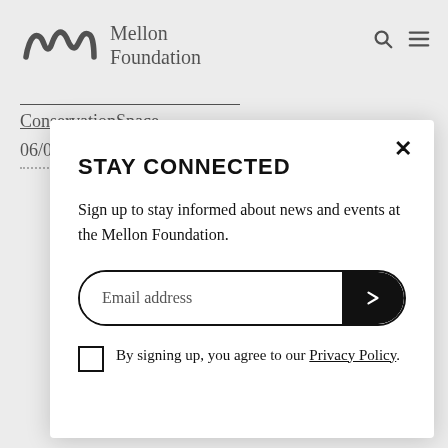[Figure (logo): Mellon Foundation logo — stylized 'm' mark followed by text 'Mellon Foundation']
ConservationSpace
06/05/14
STAY CONNECTED
Sign up to stay informed about news and events at the Mellon Foundation.
Email address
By signing up, you agree to our Privacy Policy.